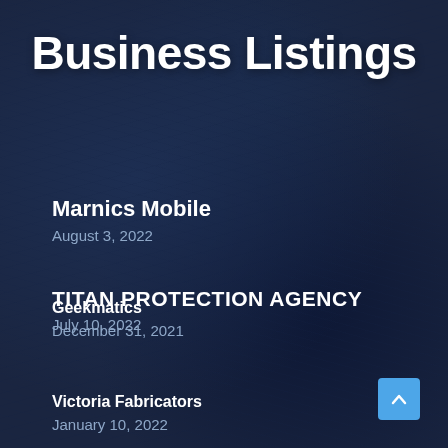Business Listings
Marnics Mobile
August 3, 2022
TITAN PROTECTION AGENCY
July 10, 2022
Geekmatics
December 31, 2021
Victoria Fabricators
January 10, 2022